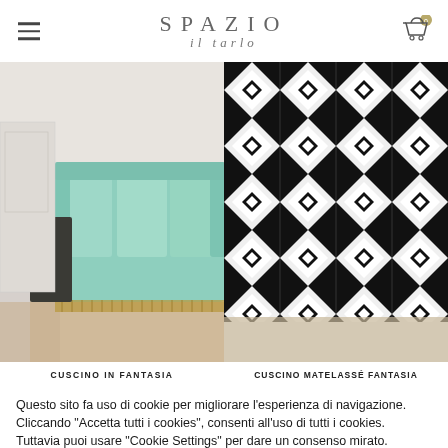SPAZIO il tarlo
[Figure (photo): Green sofa with fringe trim on a patterned rug, with a dark side table]
[Figure (photo): Black and white geometric pinwheel pattern fabric or tile]
CUSCINO IN FANTASIA
CUSCINO MATELASSÉ FANTASIA
Questo sito fa uso di cookie per migliorare l'esperienza di navigazione. Cliccando "Accetta tutti i cookies", consenti all'uso di tutti i cookies. Tuttavia puoi usare "Cookie Settings" per dare un consenso mirato.
Cookie Settings
Accept All